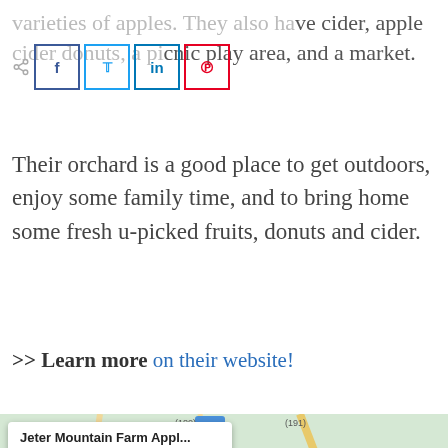varieties of apples. They also have cider, apple cider donuts, a picnic play area, and a market.
[Figure (screenshot): Social share buttons: Facebook (f), Twitter (bird), LinkedIn (in), Pinterest (p)]
Their orchard is a good place to get outdoors, enjoy some family time, and to bring home some fresh u-picked fruits, donuts and cider.
>> Learn more on their website!
[Figure (map): Google Maps embed showing Jeter Mountain Farm Appl... location near Hendersonville, with a popup showing 'Jeter Mountain Farm Appl...' and 'View larger map' link]
[Figure (photo): Advertisement showing people in a kitchen with a search bar reading 'Vacation' and a 'Book Now' button]